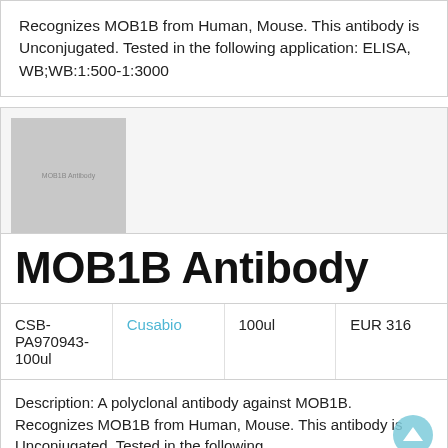Recognizes MOB1B from Human, Mouse. This antibody is Unconjugated. Tested in the following application: ELISA, WB;WB:1:500-1:3000
[Figure (photo): Product image placeholder showing MOB1B Antibody label in gray box]
MOB1B Antibody
|  |  |  |  |
| --- | --- | --- | --- |
| CSB-PA970943-100ul | Cusabio | 100ul | EUR 316 |
Description: A polyclonal antibody against MOB1B. Recognizes MOB1B from Human, Mouse. This antibody is Unconjugated. Tested in the following